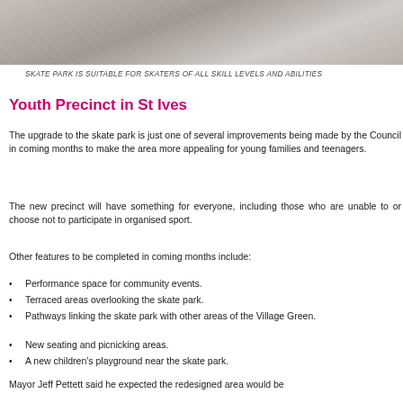[Figure (photo): Aerial or close-up view of skate park concrete surfaces]
SKATE PARK IS SUITABLE FOR SKATERS OF ALL SKILL LEVELS AND ABILITIES
Youth Precinct in St Ives
The upgrade to the skate park is just one of several improvements being made by the Council in coming months to make the area more appealing for young families and teenagers.
The new precinct will have something for everyone, including those who are unable to or choose not to participate in organised sport.
Other features to be completed in coming months include:
Performance space for community events.
Terraced areas overlooking the skate park.
Pathways linking the skate park with other areas of the Village Green.
New seating and picnicking areas.
A new children's playground near the skate park.
Mayor Jeff Pettett said he expected the redesigned area would be